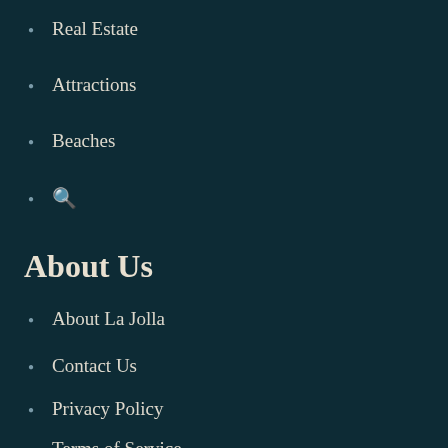Real Estate
Attractions
Beaches
🔍
About Us
About La Jolla
Contact Us
Privacy Policy
Terms of Service
Connect With U…